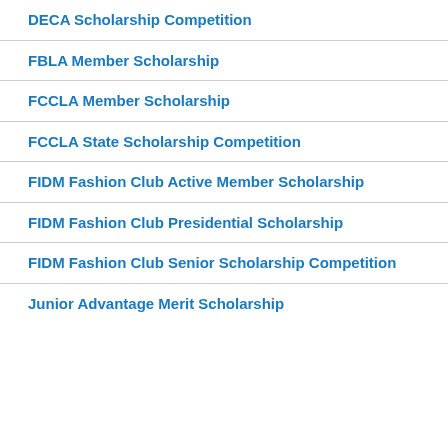DECA Scholarship Competition
FBLA Member Scholarship
FCCLA Member Scholarship
FCCLA State Scholarship Competition
FIDM Fashion Club Active Member Scholarship
FIDM Fashion Club Presidential Scholarship
FIDM Fashion Club Senior Scholarship Competition
Junior Advantage Merit Scholarship